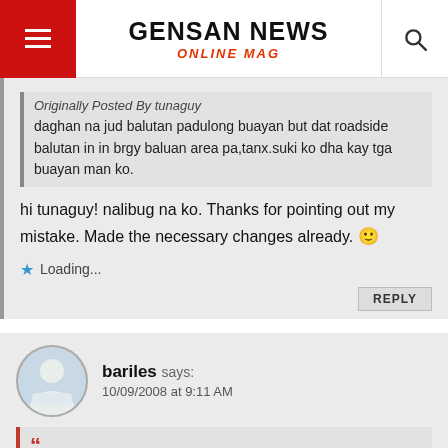GENSAN NEWS ONLINE MAG
Originally Posted By tunaguy
daghan na jud balutan padulong buayan but dat roadside balutan in in brgy baluan area pa,tanx.suki ko dha kay tga buayan man ko.
hi tunaguy! nalibug na ko. Thanks for pointing out my mistake. Made the necessary changes already. 🙂
★ Loading...
REPLY
bariles says:
10/09/2008 at 9:11 AM
Originally Posted By amihan
I never could summon enough courage to eat balut (of whatever age). Penoy lang jud intawn akong kaya... with its creamy yoke.